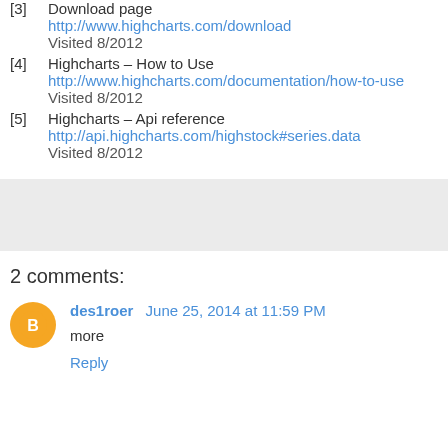[3] Download page
http://www.highcharts.com/download
Visited 8/2012
[4] Highcharts – How to Use
http://www.highcharts.com/documentation/how-to-use
Visited 8/2012
[5] Highcharts – Api reference
http://api.highcharts.com/highstock#series.data
Visited 8/2012
2 comments:
des1roer  June 25, 2014 at 11:59 PM
more
Reply